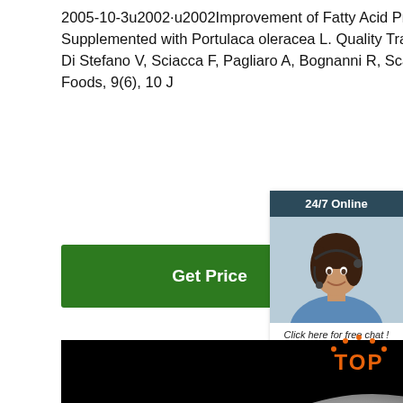2005-10-3u2002·u2002Improvement of Fatty Acid Profile in Durum Wheat Breads Supplemented with Portulaca oleracea L. Quality Traits of Purslane-Fortified Bread. Melilli MG, Di Stefano V, Sciacca F, Pagliaro A, Bognanni R, Scandurra S, Virzì N, Gentile C, Palumbo M. Foods, 9(6), 10 J
[Figure (other): Green 'Get Price' button]
[Figure (photo): Customer service representative with headset, 24/7 Online chat panel with orange QUOTATION button]
[Figure (photo): Circular white/grey powder sample on black background]
[Figure (logo): TOP logo with orange arc above text]